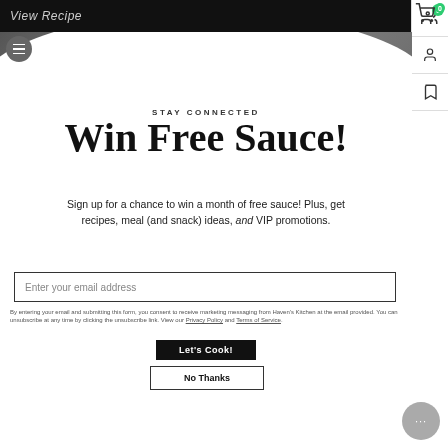View Recipe
STAY CONNECTED
Win Free Sauce!
Sign up for a chance to win a month of free sauce! Plus, get recipes, meal (and snack) ideas, and VIP promotions.
Enter your email address
By entering your email and submitting this form, you consent to receive marketing messaging from Haven's Kitchen at the email provided. You can unsubscribe at any time by clicking the unsubscribe link. View our Privacy Policy and Terms of Service.
Let's Cook!
No Thanks